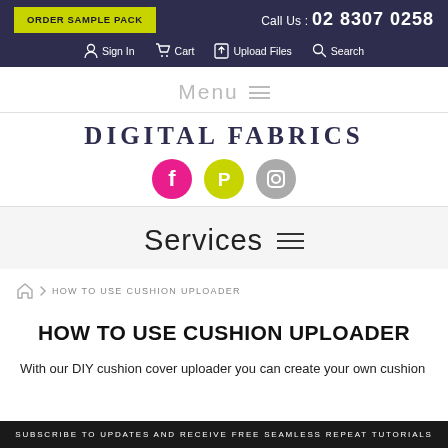ORDER SAMPLE PACK | Call Us : 02 8307 0258
Sign In | Cart | Upload Files | Search
Menu ≡
DIGITAL FABRICS
[Figure (logo): Social media icons: Facebook (pink), Pinterest (yellow-green), Instagram (gray)]
Services ≡
HOW TO USE CUSHION UPLOADER breadcrumb navigation
HOW TO USE CUSHION UPLOADER
With our DIY cushion cover uploader you can create your own cushion
SUBSCRIBE TO UPDATES AND RECEIVE FREE SEAMLESS REPEAT TUTORIALS